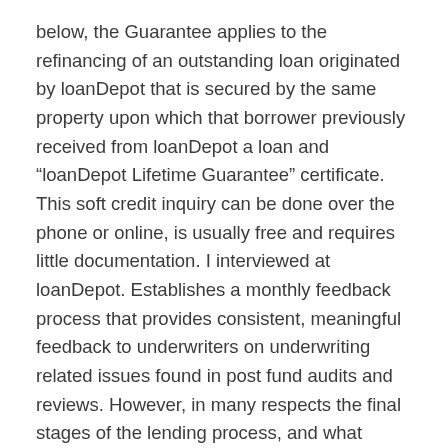below, the Guarantee applies to the refinancing of an outstanding loan originated by loanDepot that is secured by the same property upon which that borrower previously received from loanDepot a loan and “loanDepot Lifetime Guarantee” certificate. This soft credit inquiry can be done over the phone or online, is usually free and requires little documentation. I interviewed at loanDepot. Establishes a monthly feedback process that provides consistent, meaningful feedback to underwriters on underwriting related issues found in post fund audits and reviews. However, in many respects the final stages of the lending process, and what happens afterward, are crucial. Please contact one of our Licensed Lending Officers at (888) 983-3240 for a customized rate and payment quote. Once you’ve found your dream home and made an offer, it’s time to have your loan application reviewed by an underwriter. Potential to be a great place if we would commit to making necessary changes. loanDepot’s easy-to-use calculator puts you in charge of estimating your mortgage